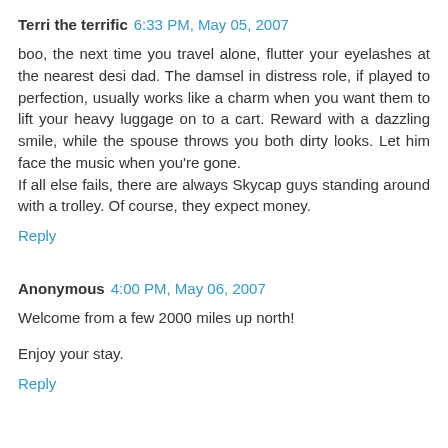Terri the terrific  6:33 PM, May 05, 2007
boo, the next time you travel alone, flutter your eyelashes at the nearest desi dad. The damsel in distress role, if played to perfection, usually works like a charm when you want them to lift your heavy luggage on to a cart. Reward with a dazzling smile, while the spouse throws you both dirty looks. Let him face the music when you're gone.
If all else fails, there are always Skycap guys standing around with a trolley. Of course, they expect money.
Reply
Anonymous  4:00 PM, May 06, 2007
Welcome from a few 2000 miles up north!

Enjoy your stay.
Reply